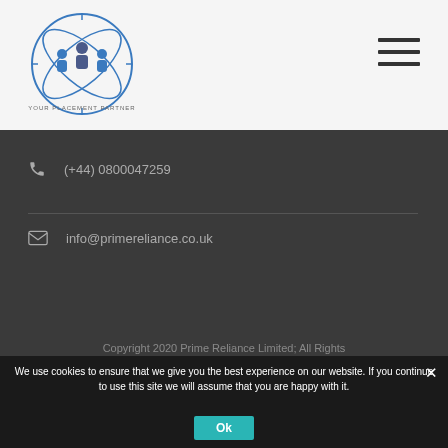[Figure (logo): Prime Reliance logo with text YOUR PLACEMENT PARTNER and three figures in blue/purple tones with circular orbit design]
[Figure (other): Hamburger menu icon (three horizontal lines) in dark color]
(+44) 0800047259
info@primereliance.co.uk
Copyright 2020 Prime Reliance Limited; All Rights
We use cookies to ensure that we give you the best experience on our website. If you continue to use this site we will assume that you are happy with it.
Ok